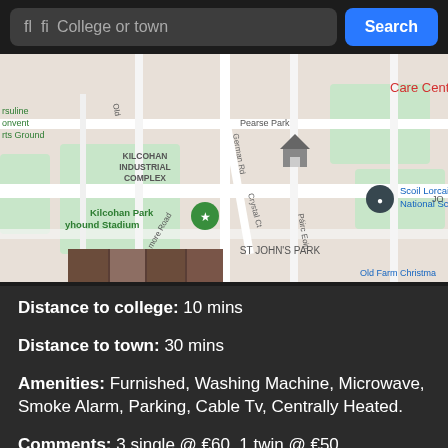College or town  Search
[Figure (map): Google Maps view showing Kilcohan Industrial Complex, Kilcohan Park Greyhound Stadium, Scoil Lorcain Boys National School, St John's Park, Pearse Park, Care Centre, Crystal Ct, German Rd, Ashley Dr, Old Farm Christmas, and surrounding streets in Galway, Ireland. A map pin and house icon are visible.]
Distance to college: 10 mins
Distance to town: 30 mins
Amenities: Furnished, Washing Machine, Microwave, Smoke Alarm, Parking, Cable Tv, Centrally Heated.
Comments: 3 single @ €60, 1 twin @ €50.